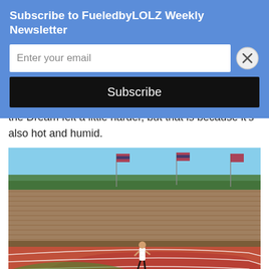Subscribe to FueledbyLOLZ Weekly Newsletter
Enter your email
Subscribe
the Dream felt a little harder, but that is because it's also hot and humid.
[Figure (photo): A female runner running on a red athletic track inside a stadium with brick bleachers and flags in the background.]
Finishing on the track